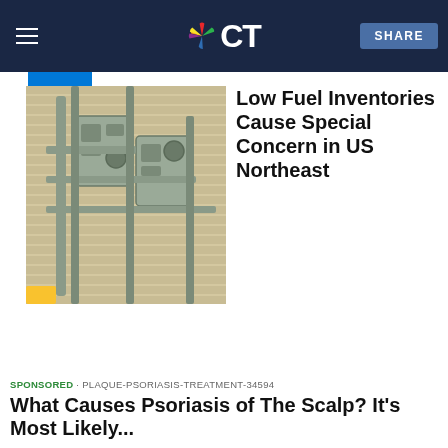NBC CT — SHARE
[Figure (photo): Outdoor gas utility meters mounted on the side of a building]
Low Fuel Inventories Cause Special Concern in US Northeast
SPONSORED · PLAQUE-PSORIASIS-TREATMENT-34594
What Causes Psoriasis of The Scalp? It's Most Likely...